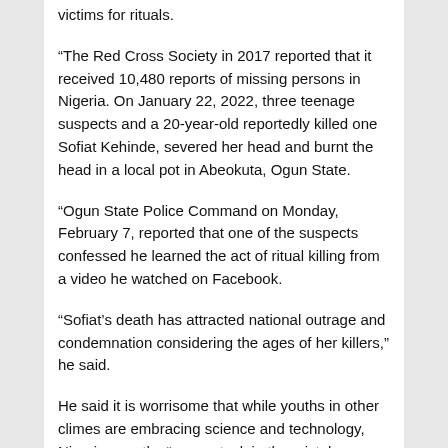victims for rituals.
“The Red Cross Society in 2017 reported that it received 10,480 reports of missing persons in Nigeria. On January 22, 2022, three teenage suspects and a 20-year-old reportedly killed one Sofiat Kehinde, severed her head and burnt the head in a local pot in Abeokuta, Ogun State.
“Ogun State Police Command on Monday, February 7, reported that one of the suspects confessed he learned the act of ritual killing from a video he watched on Facebook.
“Sofiat’s death has attracted national outrage and condemnation considering the ages of her killers,” he said.
He said it is worrisome that while youths in other climes are embracing science and technology, Nigerian youths “seem stuck in the mistaken belief that sacrificing human blood is the surest route to wealth, safety and protection.”